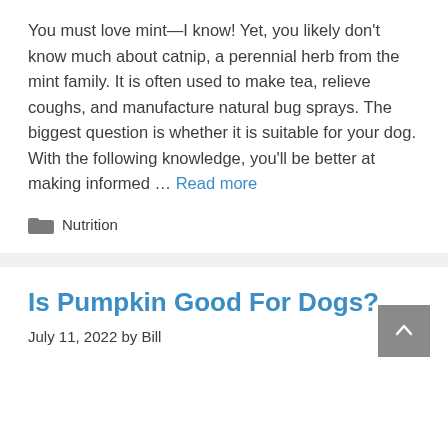You must love mint—I know! Yet, you likely don't know much about catnip, a perennial herb from the mint family. It is often used to make tea, relieve coughs, and manufacture natural bug sprays. The biggest question is whether it is suitable for your dog. With the following knowledge, you'll be better at making informed … Read more
Nutrition
Is Pumpkin Good For Dogs?
July 11, 2022 by Bill